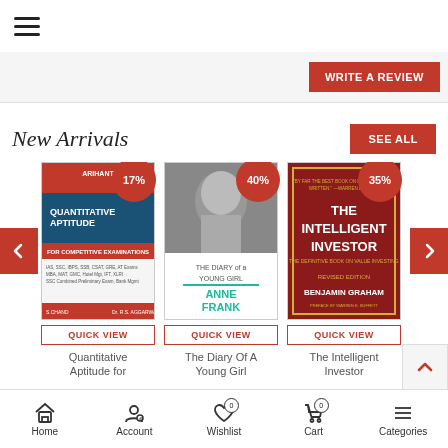[Figure (screenshot): Hamburger menu icon (three horizontal lines) in top navigation bar]
Write A Review
New Arrivals
SEE ALL
[Figure (screenshot): Book cover: Quantitative Aptitude for Competitive Examinations with 17% discount badge and QUICK VIEW button]
17%
QUICK VIEW
Quantitative Aptitude for
[Figure (screenshot): Book cover: The Diary of a Young Girl by Anne Frank with 40% discount badge and QUICK VIEW button]
40%
QUICK VIEW
The Diary Of A Young Girl
[Figure (screenshot): Book cover: The Intelligent Investor by Benjamin Graham with 35% discount badge and QUICK VIEW button]
35%
QUICK VIEW
The Intelligent Investor
Home | Account | Wishlist 0 | Cart 0 | Categories